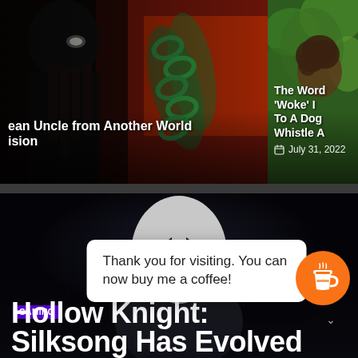[Figure (screenshot): Anime-style artwork from 'An Uncle from Another World' showing a dark character with glowing eye and green chains on a red/dark background]
an Uncle from Another World
sion
[Figure (photo): Photo of a person with curly hair against a green leafy background]
The Word 'Woke' I
To A Dog Whistle A
July 31, 2022
[Figure (screenshot): Dark atmospheric screenshot of Hollow Knight: Silksong game showing the white mask character against dark background]
GAMING
Hollow Knight: Silksong Has Evolved
Thank you for visiting. You can now buy me a coffee!
[Figure (logo): Buy Me a Coffee orange circular button with coffee cup icon]